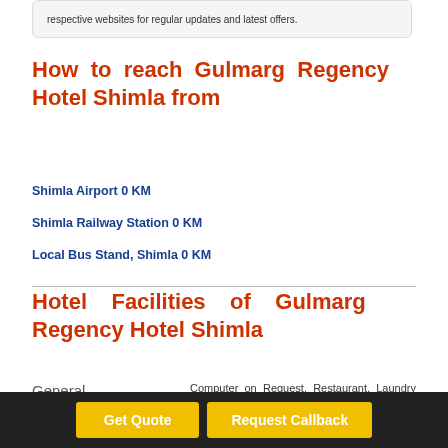respective websites for regular updates and latest offers.
How to reach Gulmarg Regency Hotel Shimla from
Shimla Airport 0 KM
Shimla Railway Station 0 KM
Local Bus Stand, Shimla 0 KM
Hotel Facilities of Gulmarg Regency Hotel Shimla
General
Computer on Request, Restaurant, Laundry Facilities, Wedding Services, Business Facilities, Express Check, Airport...